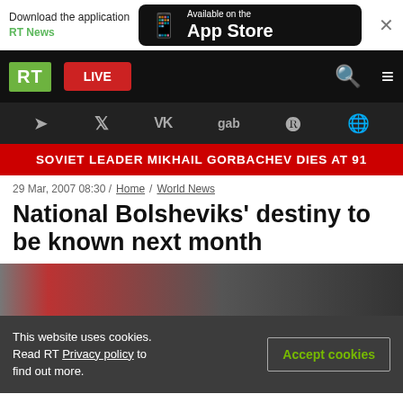Download the application RT News | Available on the App Store
[Figure (screenshot): RT news website navigation bar with RT logo, LIVE button, search and menu icons]
[Figure (screenshot): Social media icons bar: Telegram, Twitter, VK, gab, Rumble, and another icon]
SOVIET LEADER MIKHAIL GORBACHEV DIES AT 91
29 Mar, 2007 08:30 / Home / World News
National Bolsheviks' destiny to be known next month
[Figure (photo): Partial photo showing people wearing red, black and white, blurred]
This website uses cookies. Read RT Privacy policy to find out more.